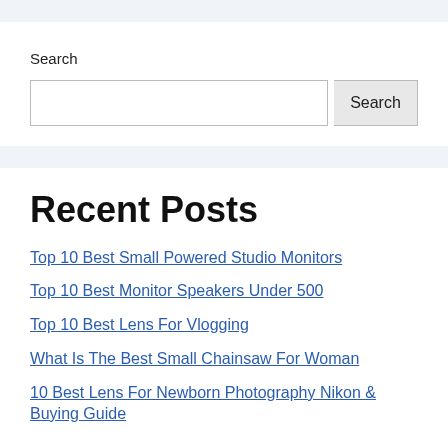Search
Search (input field and button)
Recent Posts
Top 10 Best Small Powered Studio Monitors
Top 10 Best Monitor Speakers Under 500
Top 10 Best Lens For Vlogging
What Is The Best Small Chainsaw For Woman
10 Best Lens For Newborn Photography Nikon & Buying Guide